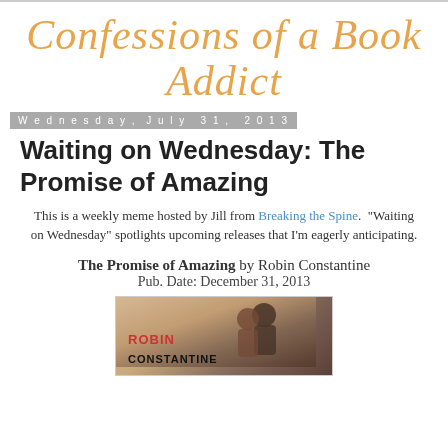Confessions of a Book Addict
Wednesday, July 31, 2013
Waiting on Wednesday: The Promise of Amazing
This is a weekly meme hosted by Jill from Breaking the Spine. "Waiting on Wednesday" spotlights upcoming releases that I'm eagerly anticipating.
The Promise of Amazing by Robin Constantine
Pub. Date: December 31, 2013
[Figure (photo): Book cover for The Promise of Amazing by Robin Constantine showing a couple about to kiss, with 'ROBIN' in red and 'CONSTANTINE' in black text on the left side of the cover]